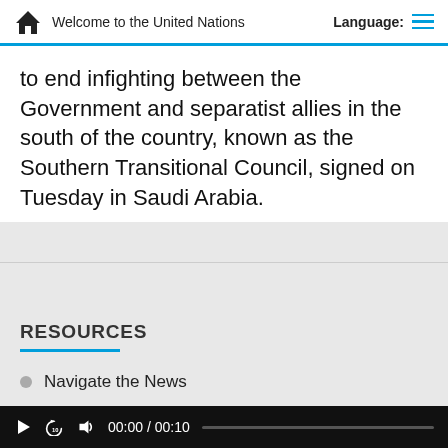Welcome to the United Nations | Language:
to end infighting between the Government and separatist allies in the south of the country, known as the Southern Transitional Council, signed on Tuesday in Saudi Arabia.
RESOURCES
Navigate the News
Information for Broadcasters
00:00 / 00:10